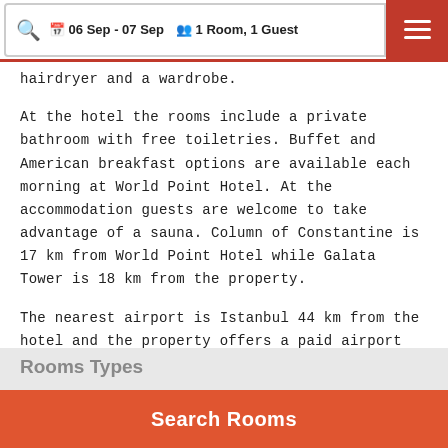06 Sep - 07 Sep  1 Room, 1 Guest
hairdryer and a wardrobe.
At the hotel the rooms include a private bathroom with free toiletries. Buffet and American breakfast options are available each morning at World Point Hotel. At the accommodation guests are welcome to take advantage of a sauna. Column of Constantine is 17 km from World Point Hotel while Galata Tower is 18 km from the property.
The nearest airport is Istanbul 44 km from the hotel and the property offers a paid airport shuttle service.
Rooms Types
Search Rooms